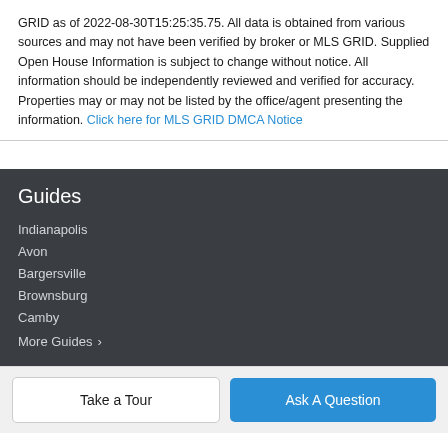GRID as of 2022-08-30T15:25:35.75. All data is obtained from various sources and may not have been verified by broker or MLS GRID. Supplied Open House Information is subject to change without notice. All information should be independently reviewed and verified for accuracy. Properties may or may not be listed by the office/agent presenting the information. Click here for MLS GRID DMCA Notice
Guides
Indianapolis
Avon
Bargersville
Brownsburg
Camby
More Guides >